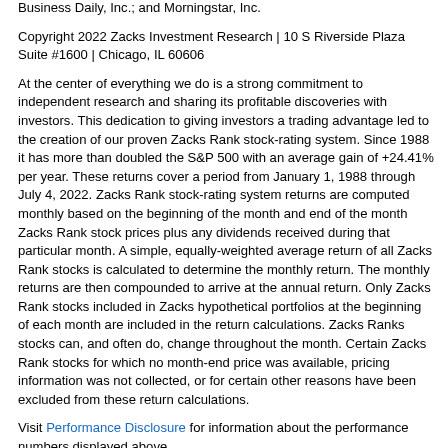represented herein are trademarks of Microsoft Corporation; Dow Jones & Company; Nasdaq, Inc.; Forbes Media, LLC; Investor's Business Daily, Inc.; and Morningstar, Inc.
Copyright 2022 Zacks Investment Research | 10 S Riverside Plaza Suite #1600 | Chicago, IL 60606
At the center of everything we do is a strong commitment to independent research and sharing its profitable discoveries with investors. This dedication to giving investors a trading advantage led to the creation of our proven Zacks Rank stock-rating system. Since 1988 it has more than doubled the S&P 500 with an average gain of +24.41% per year. These returns cover a period from January 1, 1988 through July 4, 2022. Zacks Rank stock-rating system returns are computed monthly based on the beginning of the month and end of the month Zacks Rank stock prices plus any dividends received during that particular month. A simple, equally-weighted average return of all Zacks Rank stocks is calculated to determine the monthly return. The monthly returns are then compounded to arrive at the annual return. Only Zacks Rank stocks included in Zacks hypothetical portfolios at the beginning of each month are included in the return calculations. Zacks Ranks stocks can, and often do, change throughout the month. Certain Zacks Rank stocks for which no month-end price was available, pricing information was not collected, or for certain other reasons have been excluded from these return calculations.
Visit Performance Disclosure for information about the performance numbers displayed above.
Visit www.zacksdata.com to get our data and content for your mobile app or website.
Real time prices by BATS. Delayed quotes by Sungard.